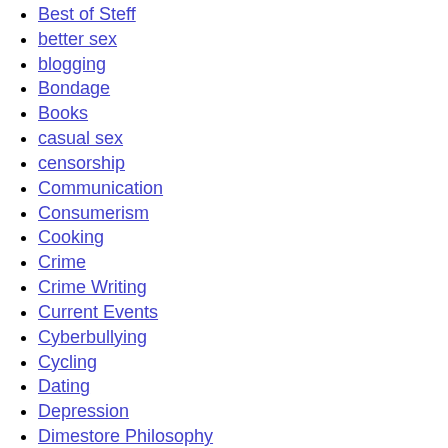Best of Steff
better sex
blogging
Bondage
Books
casual sex
censorship
Communication
Consumerism
Cooking
Crime
Crime Writing
Current Events
Cyberbullying
Cycling
Dating
Depression
Dimestore Philosophy
Drugs
dysfunction
Eating Disorder
Education
Erotica
Ethics
Etiquette